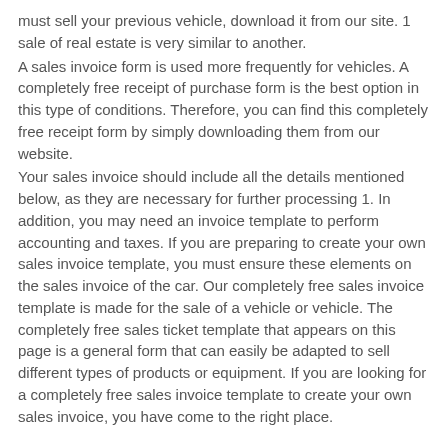must sell your previous vehicle, download it from our site. 1 sale of real estate is very similar to another.
A sales invoice form is used more frequently for vehicles. A completely free receipt of purchase form is the best option in this type of conditions. Therefore, you can find this completely free receipt form by simply downloading them from our website.
Your sales invoice should include all the details mentioned below, as they are necessary for further processing 1. In addition, you may need an invoice template to perform accounting and taxes. If you are preparing to create your own sales invoice template, you must ensure these elements on the sales invoice of the car. Our completely free sales invoice template is made for the sale of a vehicle or vehicle. The completely free sales ticket template that appears on this page is a general form that can easily be adapted to sell different types of products or equipment. If you are looking for a completely free sales invoice template to create your own sales invoice, you have come to the right place.
sale template